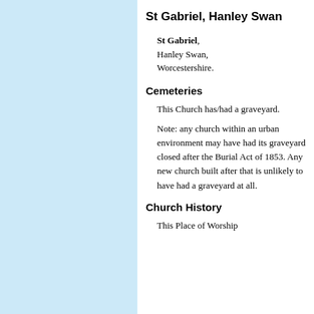St Gabriel, Hanley Swan
St Gabriel, Hanley Swan, Worcestershire.
Cemeteries
This Church has/had a graveyard.
Note: any church within an urban environment may have had its graveyard closed after the Burial Act of 1853. Any new church built after that is unlikely to have had a graveyard at all.
Church History
This Place of Worship